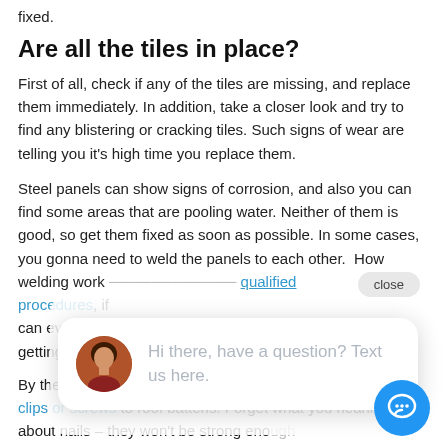fixed.
Are all the tiles in place?
First of all, check if any of the tiles are missing, and replace them immediately. In addition, take a closer look and try to find any blistering or cracking tiles. Such signs of wear are telling you it's high time you replace them.
Steel panels can show signs of corrosion, and also you can find some areas that are pooling water. Neither of them is good, so get them fixed as soon as possible. In some cases, you gonna need to weld the panels to each other. How welding work must complete using qualified procedures, if can even be getting help f
[Figure (screenshot): Chat popup with avatar of a woman and text: Hi there, have a question? Text us here. A close button is visible top-right of the popup area.]
By the way, m... clips or screws to roof battens. Forget what you hearing about nails – they won't be strong enough to endure cyclone gusts and gales.
Shape of roof